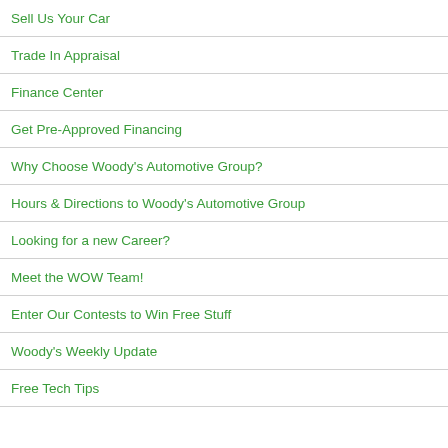Sell Us Your Car
Trade In Appraisal
Finance Center
Get Pre-Approved Financing
Why Choose Woody's Automotive Group?
Hours & Directions to Woody's Automotive Group
Looking for a new Career?
Meet the WOW Team!
Enter Our Contests to Win Free Stuff
Woody's Weekly Update
Free Tech Tips